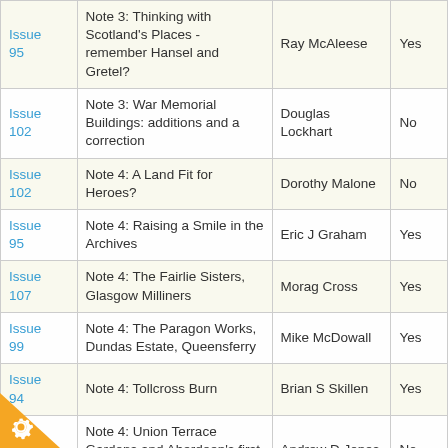| Issue | Title | Author | Illus? |
| --- | --- | --- | --- |
| Issue 95 | Note 3: Thinking with Scotland's Places - remember Hansel and Gretel? | Ray McAleese | Yes |
| Issue 102 | Note 3: War Memorial Buildings: additions and a correction | Douglas Lockhart | No |
| Issue 102 | Note 4: A Land Fit for Heroes? | Dorothy Malone | No |
| Issue 95 | Note 4: Raising a Smile in the Archives | Eric J Graham | Yes |
| Issue 107 | Note 4: The Fairlie Sisters, Glasgow Milliners | Morag Cross | Yes |
| Issue 99 | Note 4: The Paragon Works, Dundas Estate, Queensferry | Mike McDowall | Yes |
| Issue 94 | Note 4: Tollcross Burn | Brian S Skillen | Yes |
| Issue 108 | Note 4: Union Terrace Gardens and Aberdeen's first phone box | Andrew D Jones | No |
| Issue ... | Note 4: Using LiDAR for |  |  |